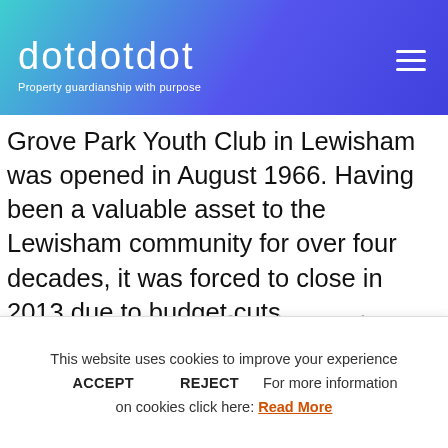dotdotdot — Property guardianship with purpose
Grove Park Youth Club in Lewisham was opened in August 1966. Having been a valuable asset to the Lewisham community for over four decades, it was forced to close in 2013 due to budget cuts.
In 2018, 52 years after the youth centre first opened,
This website uses cookies to improve your experience
ACCEPT   REJECT   For more information on cookies click here: Read More